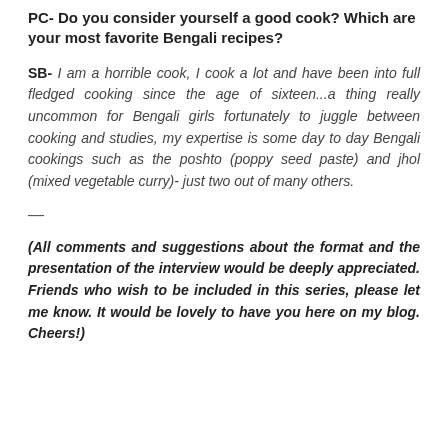PC- Do you consider yourself a good cook? Which are your most favorite Bengali recipes?
SB- I am a horrible cook, I cook a lot and have been into full fledged cooking since the age of sixteen...a thing really uncommon for Bengali girls fortunately to juggle between cooking and studies, my expertise is some day to day Bengali cookings such as the poshto (poppy seed paste) and jhol (mixed vegetable curry)- just two out of many others.
—
(All comments and suggestions about the format and the presentation of the interview would be deeply appreciated. Friends who wish to be included in this series, please let me know. It would be lovely to have you here on my blog. Cheers!)